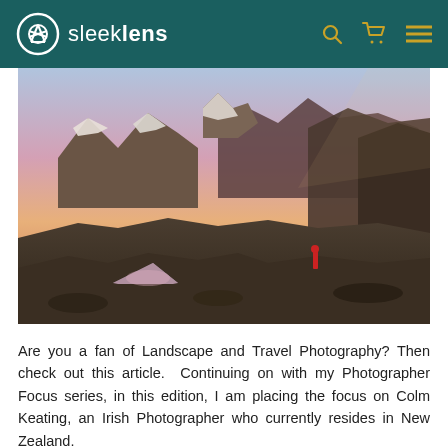sleeklens
[Figure (photo): Landscape photograph of a mountain campsite at dawn or dusk. A glowing pink and purple sky is visible over snow-capped peaks. A person in a red jacket stands on rocky terrain overlooking two alpine lakes below. A small grey tent is pitched in the foreground left. Dramatic rocky ridgelines extend to the right.]
Are you a fan of Landscape and Travel Photography? Then check out this article.  Continuing on with my Photographer Focus series, in this edition, I am placing the focus on Colm Keating, an Irish Photographer who currently resides in New Zealand.